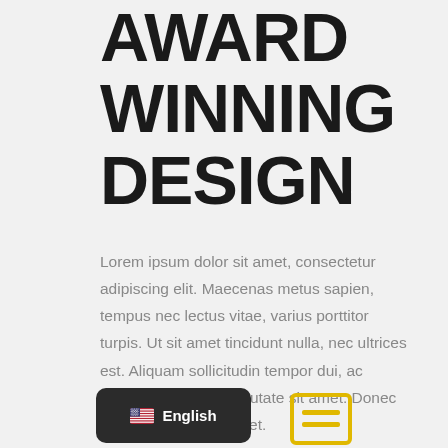AWARD WINNING DESIGN
Lorem ipsum dolor sit amet, consectetur adipiscing elit. Maecenas metus sapien, tempus nec lectus vitae, varius porttitor turpis. Ut sit amet tincidunt nulla, nec ultrices est. Aliquam sollicitudin tempor dui, ac accumsan metus vulputate sit amet. Donec placerat rutrum tellus et.
[Figure (screenshot): Dark rounded button with US flag emoji and 'English' text label]
[Figure (illustration): Yellow document/lines icon]